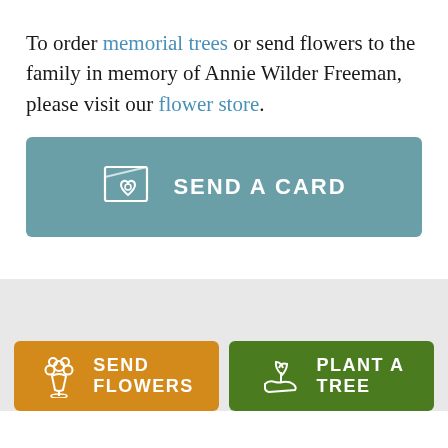To order memorial trees or send flowers to the family in memory of Annie Wilder Freeman, please visit our flower store.
[Figure (other): Teal button with greeting card icon and text SEND A CARD]
[Figure (other): Orange button with flower bouquet icon and text SEND FLOWERS, and green button with plant/hand icon and text PLANT A TREE]